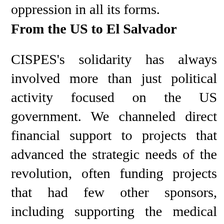oppression in all its forms.
From the US to El Salvador
CISPES's solidarity has always involved more than just political activity focused on the US government. We channeled direct financial support to projects that advanced the strategic needs of the revolution, often funding projects that had few other sponsors, including supporting the medical and radio systems of the FMLN during the war. The amount of money sent may have been small compared to the funds our government lavished on destruction, but CISPES's aid was a major morale booster for the movement in El Salvador and has had a political impact far in excess of the dollar amount. CISPES has raised around $7